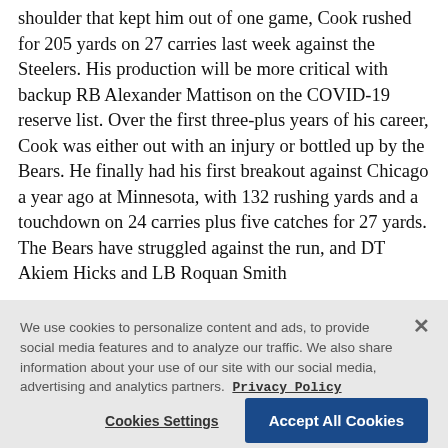shoulder that kept him out of one game, Cook rushed for 205 yards on 27 carries last week against the Steelers. His production will be more critical with backup RB Alexander Mattison on the COVID-19 reserve list. Over the first three-plus years of his career, Cook was either out with an injury or bottled up by the Bears. He finally had his first breakout against Chicago a year ago at Minnesota, with 132 rushing yards and a touchdown on 24 carries plus five catches for 27 yards. The Bears have struggled against the run, and DT Akiem Hicks and LB Roquan Smith
We use cookies to personalize content and ads, to provide social media features and to analyze our traffic. We also share information about your use of our site with our social media, advertising and analytics partners. Privacy Policy
Cookies Settings
Accept All Cookies